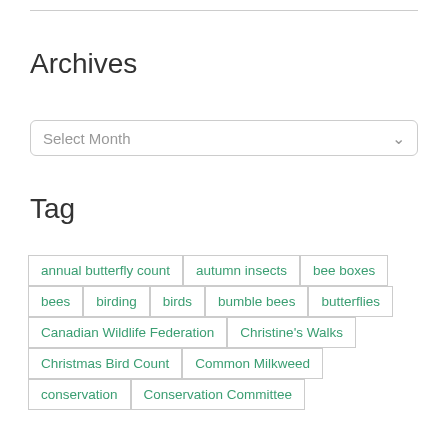Archives
Select Month
Tag
annual butterfly count
autumn insects
bee boxes
bees
birding
birds
bumble bees
butterflies
Canadian Wildlife Federation
Christine's Walks
Christmas Bird Count
Common Milkweed
conservation
Conservation Committee